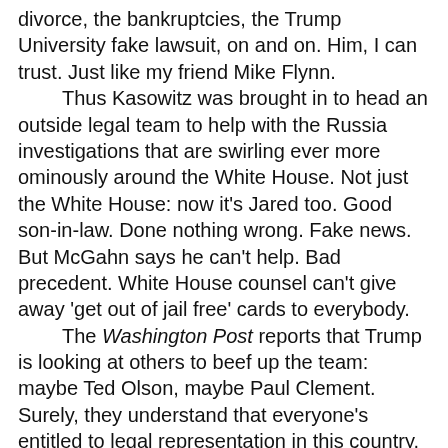divorce, the bankruptcies, the Trump University fake lawsuit, on and on. Him, I can trust. Just like my friend Mike Flynn.

Thus Kasowitz was brought in to head an outside legal team to help with the Russia investigations that are swirling ever more ominously around the White House. Not just the White House: now it's Jared too. Good son-in-law. Done nothing wrong. Fake news. But McGahn says he can't help. Bad precedent. White House counsel can't give away 'get out of jail free' cards to everybody.

The Washington Post reports that Trump is looking at others to beef up the team: maybe Ted Olson, maybe Paul Clement. Surely, they understand that everyone's entitled to legal representation in this country. But already on the blogosphere some nigglers are suggesting that Olson and Clement have nothing to gain with this brief — and a lot to lose, like their reputations.

Lawyering, it turns out, has been one of the Achilles' heels of this administration, now just past the 125-day mark. Yes, the Justice Department lawyers put up a good fight, but federal appeals courts appeared to have blocked the president's signature policy achievement of his first full week in office: Executive Order Protecting The Nation from Foreign Terrorist Entering The United States.